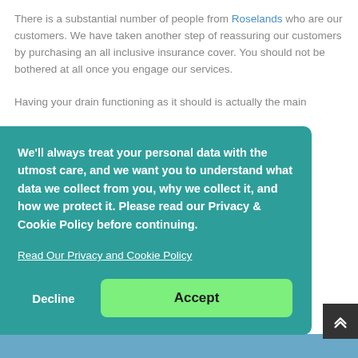There is a substantial number of people from Roselands who are our customers. We have taken another step of reassuring our customers by purchasing an all inclusive insurance cover. You should not be bothered at all once you engage our services.
Having your drain functioning as it should is actually the main ...
[Figure (screenshot): Cookie/privacy consent banner overlay with teal background. Contains text: 'We'll always treat your personal data with the utmost care, and we want you to understand what data we collect from you, why we collect it, and how we protect it. Please read our Privacy & Cookie Policy before continuing.' A link 'Read Our Privacy and Cookie Policy' and two buttons: 'Decline' (white text) and 'Accept' (green button with dark text).]